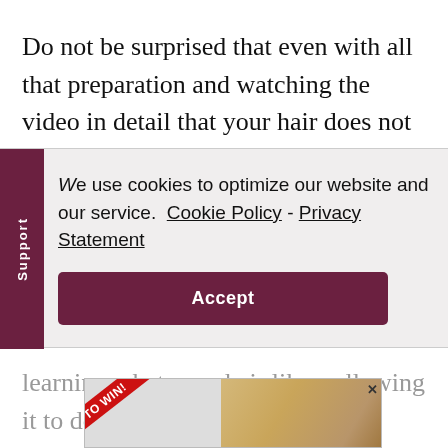Do not be surprised that even with all that preparation and watching the video in detail that your hair does not quite look like the girl on the
We use cookies to optimize our website and our service.  Cookie Policy  -  Privacy Statement
Accept
learning what your hair likes, allowing it to do what it likes to do, and keeping it healthy at all costs.
[Figure (photo): Advertisement banner with red ribbon and TO WIN text, showing a woman with blonde hair]